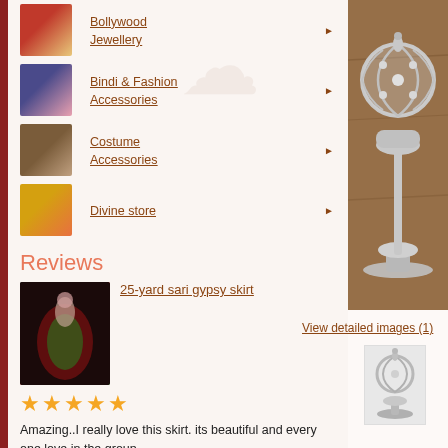Bollywood Jewellery
Bindi & Fashion Accessories
Costume Accessories
Divine store
[Figure (photo): Silver decorative oil lamp / diya on wooden background]
Reviews
[Figure (photo): Dancer in colorful gypsy skirt spinning on dark stage]
25-yard sari gypsy skirt
View detailed images (1)
[Figure (photo): Small thumbnail of silver decorative lamp]
★★★★★
Amazing..I really love this skirt. its beautiful and every one love in the group..
Angela Martin
Oct 27, 2012